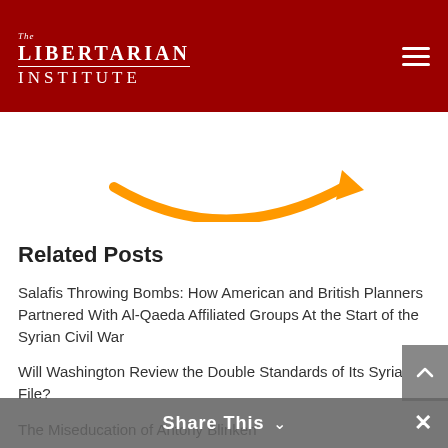The Libertarian Institute
[Figure (logo): Amazon smile logo (orange curved arrow)]
Related Posts
Salafis Throwing Bombs: How American and British Planners Partnered With Al-Qaeda Affiliated Groups At the Start of the Syrian Civil War
Will Washington Review the Double Standards of Its Syria File?
The Miseducation of Antony Blinken
Return to Normalcy: Victoria Nuland Back To Managing the Empire
Share This